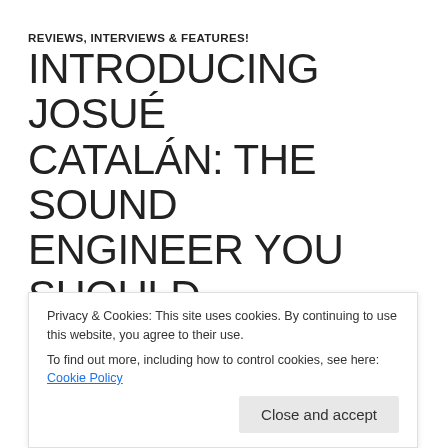REVIEWS, INTERVIEWS & FEATURES!
INTRODUCING JOSUÉ CATALÁN: THE SOUND ENGINEER YOU SHOULD KNOW ABOUT
DECEMBER 27, 2017   PRESSVA   LEAVE A COMMENT
The music industry is comprised of driven professionals who are fueled by a love and passion for their work. More often than not, the initial spark of inspiration is ignited by one or more musical influences, and for Josué Catalán, it was a childhood spent listening to Pink Floyd, U2, and The Beatles!
Privacy & Cookies: This site uses cookies. By continuing to use this website, you agree to their use.
To find out more, including how to control cookies, see here: Cookie Policy
Close and accept